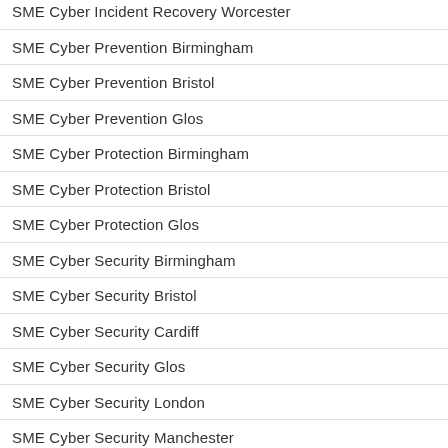SME Cyber Incident Recovery Worcester
SME Cyber Prevention Birmingham
SME Cyber Prevention Bristol
SME Cyber Prevention Glos
SME Cyber Protection Birmingham
SME Cyber Protection Bristol
SME Cyber Protection Glos
SME Cyber Security Birmingham
SME Cyber Security Bristol
SME Cyber Security Cardiff
SME Cyber Security Glos
SME Cyber Security London
SME Cyber Security Manchester